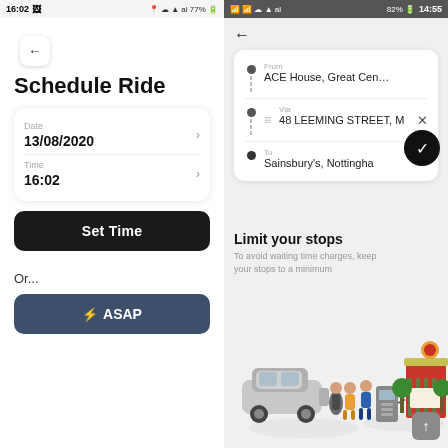16:02  77%
Schedule Ride
Date
13/08/2020
Time
16:02
Set Time
Or...
⚡ ASAP
14:55  82%
From
ACE House, Great Central R
Via
48 LEEMING STREET, M
To
Sainsbury's, Nottingha
Limit your stops
To avoid waiting time charges, keep your stops to a minimum
[Figure (illustration): Isometric illustration of a car stopped at ATM with people, and a restaurant/shop building with trees in background]